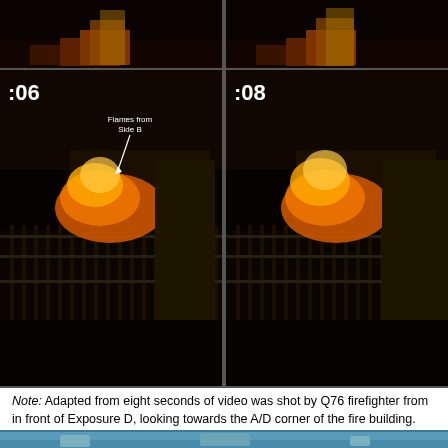[Figure (photo): Top strip showing two partial video stills of a fire at night, top of building with flames visible, dark background]
[Figure (photo): Two video stills side-by-side showing a building on fire at night. Left frame labeled ':06' with annotation 'Flames from Side B' and arrow pointing to flames at roofline. Right frame labeled ':08' showing same scene two seconds later. Iron fence visible in foreground.]
Note: Adapted from eight seconds of video was shot by Q76 firefighter from in front of Exposure D, looking towards the A/D corner of the fire building.
Figure 3. Post Fire Photo from in Front of Exposure D
[Figure (photo): Bottom partial photo showing post-fire scene in daylight with blue sky, beginning of image cropped at bottom of page]